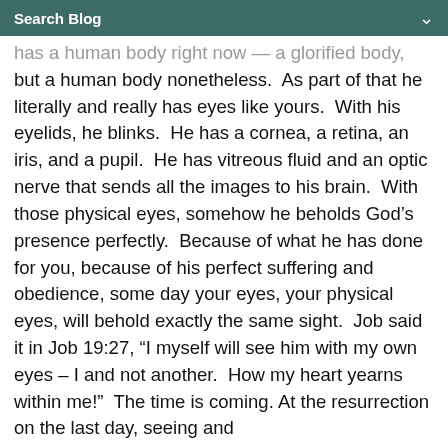Search Blog
has a human body right now — a glorified body, but a human body nonetheless. As part of that he literally and really has eyes like yours. With his eyelids, he blinks. He has a cornea, a retina, an iris, and a pupil. He has vitreous fluid and an optic nerve that sends all the images to his brain. With those physical eyes, somehow he beholds God's presence perfectly. Because of what he has done for you, because of his perfect suffering and obedience, some day your eyes, your physical eyes, will behold exactly the same sight. Job said it in Job 19:27, “I myself will see him with my own eyes – I and not another. How my heart yearns within me!” The time is coming. At the resurrection on the last day, seeing and